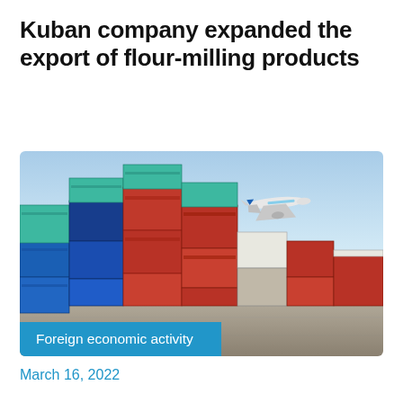Kuban company expanded the export of flour-milling products
[Figure (photo): Stacked shipping containers in a port yard with an airplane flying overhead and sunlight visible in the background. An overlay label reads 'Foreign economic activity' on a blue banner at the bottom left.]
March 16, 2022